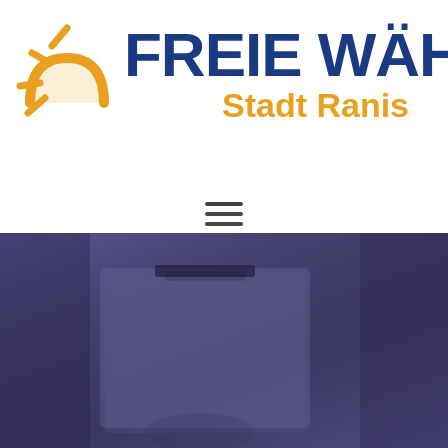[Figure (logo): Freie Wähler Stadt Ranis logo with orange sun graphic, blue bold text 'FREIE WÄHLER' and orange italic text 'Stadt Ranis']
[Figure (other): Hamburger menu icon (three horizontal lines)]
[Figure (photo): Dark purple-toned photo of a ballot box with a hand inserting a ballot, used as a hero/banner image]